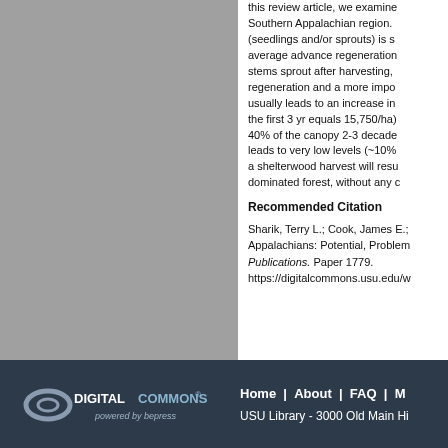[Figure (photo): Gray rectangular panel on left side of page, likely a figure or image placeholder]
this review article, we examine... Southern Appalachian region. (seedlings and/or sprouts) is s... average advance regeneration... stems sprout after harvesting, regeneration and a more impo... usually leads to an increase in the first 3 yr equals 15,750/ha) 40% of the canopy 2-3 decade leads to very low levels (~10% a shelterwood harvest will resu... dominated forest, without any c...
Recommended Citation
Sharik, Terry L.; Cook, James E.; Appalachians: Potential, Problem... Publications. Paper 1779. https://digitalcommons.usu.edu/w...
Home | About | FAQ | M... USU Library - 3000 Old Main Hi...